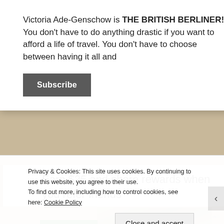Victoria Ade-Genschow is THE BRITISH BERLINER! You don't have to do anything drastic if you want to afford a life of travel. You don't have to choose between having it all and
Subscribe
Earn $25 and share rewards when you refer friends
[Figure (photo): Partial photo of a person wearing sunglasses, viewed from above, with a natural outdoor background.]
Privacy & Cookies: This site uses cookies. By continuing to use this website, you agree to their use.
To find out more, including how to control cookies, see here: Cookie Policy
Close and accept